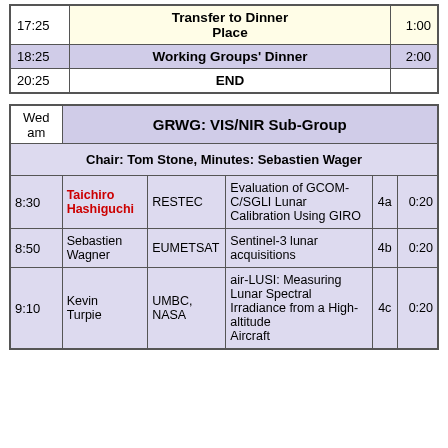| Time | Event | Duration |
| --- | --- | --- |
| 17:25 | Transfer to Dinner Place | 1:00 |
| 18:25 | Working Groups' Dinner | 2:00 |
| 20:25 | END |  |
| Day | Session | Chair | Presenter | Org | Title | Num | Dur |
| --- | --- | --- | --- | --- | --- | --- | --- |
| Wed am | GRWG: VIS/NIR Sub-Group |  |  |  |  |  |  |
|  | Chair: Tom Stone, Minutes: Sebastien Wager |  |  |  |  |  |  |
| 8:30 |  | Taichiro Hashiguchi | RESTEC | Evaluation of GCOM-C/SGLI Lunar Calibration Using GIRO | 4a | 0:20 |  |
| 8:50 |  | Sebastien Wagner | EUMETSAT | Sentinel-3 lunar acquisitions | 4b | 0:20 |  |
| 9:10 |  | Kevin Turpie | UMBC, NASA | air-LUSI: Measuring Lunar Spectral Irradiance from a High-altitude Aircraft | 4c | 0:20 |  |